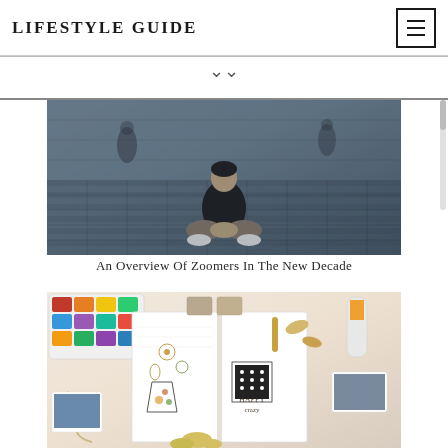LIFESTYLE GUIDE
[Figure (photo): Person sitting cross-legged on steps/pavement in a dark outfit, urban background with other people walking]
An Overview Of Zoomers In The New Decade
[Figure (photo): Flat lay of a bullet journal/scrapbook open with floral doodles, surrounded by watercolor paints, stamps, photos, and craft supplies on a white surface]